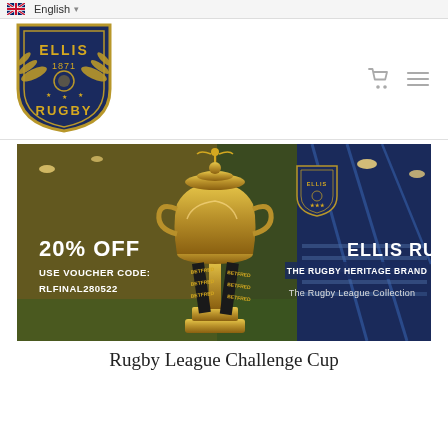English
[Figure (logo): Ellis Rugby shield logo with wings, gold text, dated 1871]
[Figure (infographic): Rugby League Challenge Cup promotional banner showing a gold trophy in a stadium. Text: 20% OFF, USE VOUCHER CODE: RLFINAL280522, ELLIS RUGBY, THE RUGBY HERITAGE BRAND, The Rugby League Collection. Ellis Rugby shield logo visible.]
Rugby League Challenge Cup